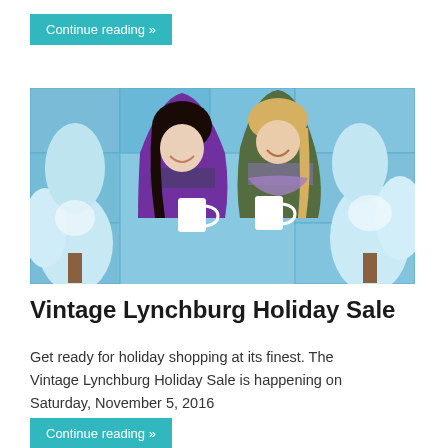Continue reading »
[Figure (photo): Two smiling women holding white mugs in winter holiday setting with snowy trees in background]
Vintage Lynchburg Holiday Sale
Get ready for holiday shopping at its finest. The Vintage Lynchburg Holiday Sale is happening on Saturday, November 5, 2016
Continue reading »